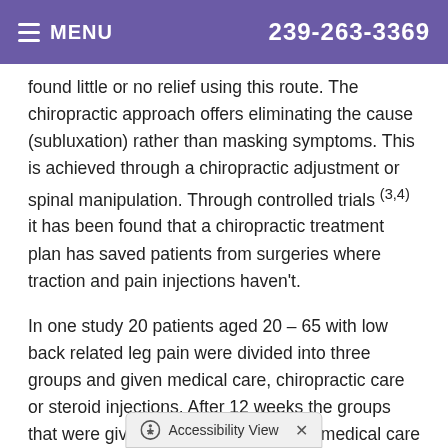MENU  239-263-3369
found little or no relief using this route. The chiropractic approach offers eliminating the cause (subluxation) rather than masking symptoms. This is achieved through a chiropractic adjustment or spinal manipulation. Through controlled trials (3,4) it has been found that a chiropractic treatment plan has saved patients from surgeries where traction and pain injections haven't.
In one study 20 patients aged 20 – 65 with low back related leg pain were divided into three groups and given medical care, chiropractic care or steroid injections. After 12 weeks the groups that were given steroid injections and medical care should no advantage over the chiropractic care.